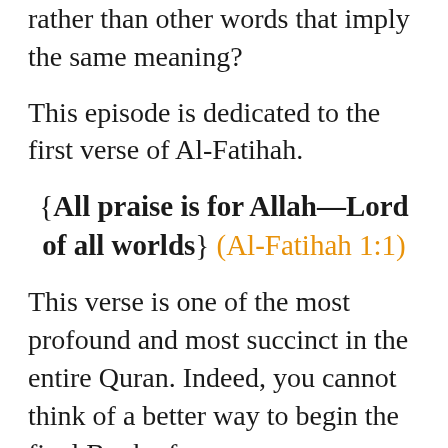rather than other words that imply the same meaning?
This episode is dedicated to the first verse of Al-Fatihah.
{All praise is for Allah—Lord of all worlds} (Al-Fatihah 1:1)
This verse is one of the most profound and most succinct in the entire Quran. Indeed, you cannot think of a better way to begin the final Book of